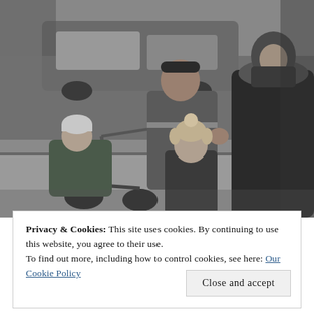[Figure (photo): Black and white street photograph showing a family scene. A man in a varsity jacket gestures toward a child in a winter hat and dark coat. On the left, an infant sits in a stroller/bicycle. On the right, a woman in a heavy fur-trimmed coat. A car is visible in the background.]
Privacy & Cookies: This site uses cookies. By continuing to use this website, you agree to their use.
To find out more, including how to control cookies, see here: Our Cookie Policy